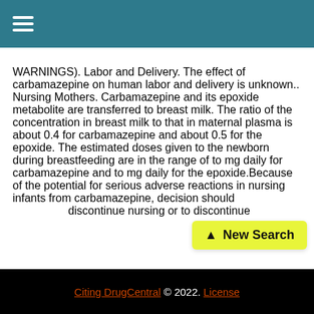≡
WARNINGS). Labor and Delivery. The effect of carbamazepine on human labor and delivery is unknown.. Nursing Mothers. Carbamazepine and its epoxide metabolite are transferred to breast milk. The ratio of the concentration in breast milk to that in maternal plasma is about 0.4 for carbamazepine and about 0.5 for the epoxide. The estimated doses given to the newborn during breastfeeding are in the range of to mg daily for carbamazepine and to mg daily for the epoxide.Because of the potential for serious adverse reactions in nursing infants from carbamazepine, decision should discontinue nursing or to discontinue the drug, taking into
[Figure (screenshot): Yellow 'New Search' button with upward arrow icon]
Citing DrugCentral © 2022. License